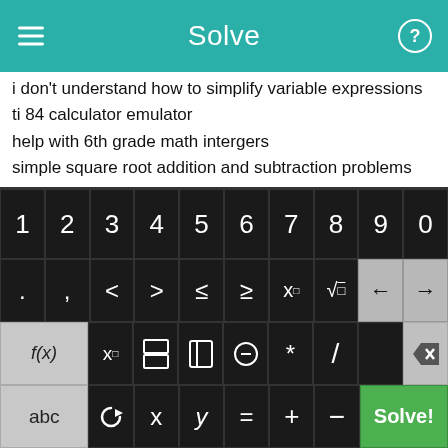Solve
i don't understand how to simplify variable expressions
ti 84 calculator emulator
help with 6th grade math intergers
simple square root addition and subtraction problems
ax2+bx+c matlab solution
converting mixed number fraction to a decimal
examples of how to work out pre-algebra problems
FREE 8TH GRADE WORD PROBLEMS WORKSHEETS
taks percent problem
convert from real to fraction
[Figure (screenshot): Calculator keyboard interface with numeric keys 1-9,0, symbol keys including < > ≤ ≥ x^□ √, function keys f(x), x subscript, fraction, absolute value, parentheses, *, /, backspace/delete, and bottom row with abc, rotation, x, y, =, +, -, and green Solve! button]